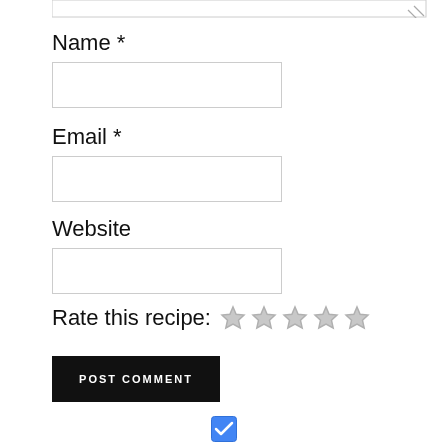[Figure (screenshot): Partial textarea with resize handle at top of page]
Name *
[Figure (screenshot): Empty text input field for Name]
Email *
[Figure (screenshot): Empty text input field for Email]
Website
[Figure (screenshot): Empty text input field for Website]
Rate this recipe: ☆☆☆☆☆
POST COMMENT
[Figure (screenshot): Blue checkbox (checked) at bottom center]